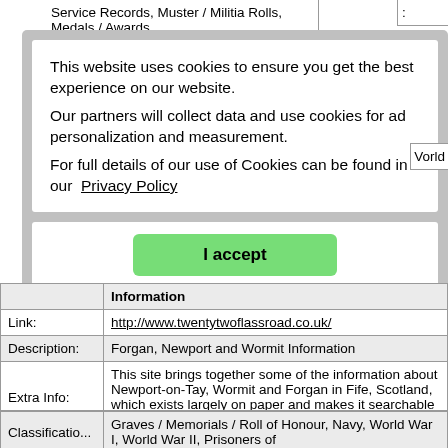Service Records, Muster / Militia Rolls, Medals / Awards...
[Figure (screenshot): Cookie consent modal overlay with white text area containing cookie notice and green 'I accept' button]
|  | Information |
| Link: | http://www.twentytwoflassroad.co.uk/ |
| Description: | Forgan, Newport and Wormit Information |
| Extra Info: | This site brings together some of the information about Newport-on-Tay, Wormit and Forgan in Fife, Scotland, which exists largely on paper and makes it searchable online. |
Graves / Memorials / Roll of Honour, Navy, World War I, World War II, Prisoners of